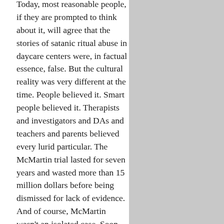Today, most reasonable people, if they are prompted to think about it, will agree that the stories of satanic ritual abuse in daycare centers were, in factual essence, false. But the cultural reality was very different at the time. People believed it. Smart people believed it. Therapists and investigators and DAs and teachers and parents believed every lurid particular. The McMartin trial lasted for seven years and wasted more than 15 million dollars before being dismissed for lack of evidence. And of course, McMartin wasn't an isolated case. Soon there would be dozens of similar panics across the United States and even in Europe. Details would differ from case to case, but the claims always hovered around core elements and tropes. Animal sacrifice. Ritual abuse of children. Buried memories of babies slaughtered at altar. Black robes and bad theater. On talk shows, "survivors" were paraded before credulous and outraged audiences.